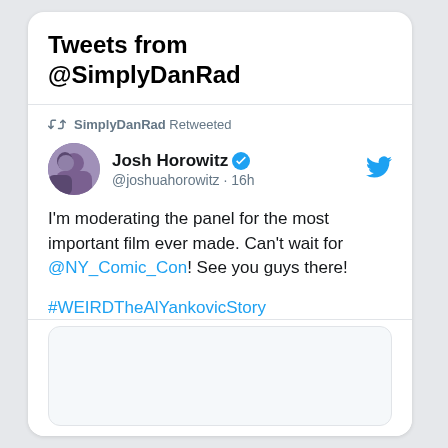Tweets from @SimplyDanRad
SimplyDanRad Retweeted
Josh Horowitz @joshuahorowitz · 16h
I'm moderating the panel for the most important film ever made. Can't wait for @NY_Comic_Con! See you guys there!

#WEIRDTheAlYankovicStory
@alyankovic
[Figure (screenshot): Media preview card placeholder at the bottom of the tweet]